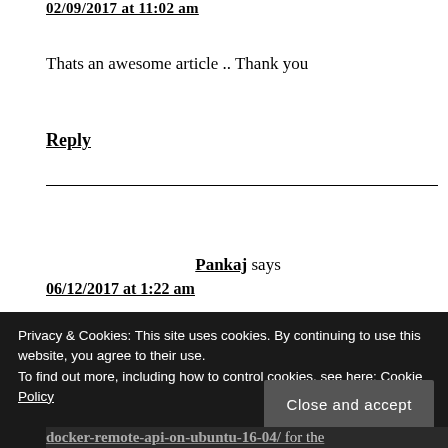02/09/2017 at 11:02 am
Thats an awesome article .. Thank you
Reply
Pankaj says
06/12/2017 at 1:22 am
Privacy & Cookies: This site uses cookies. By continuing to use this website, you agree to their use.
To find out more, including how to control cookies, see here: Cookie Policy
Close and accept
docker-remote-api-on-ubuntu-16-04/ for the